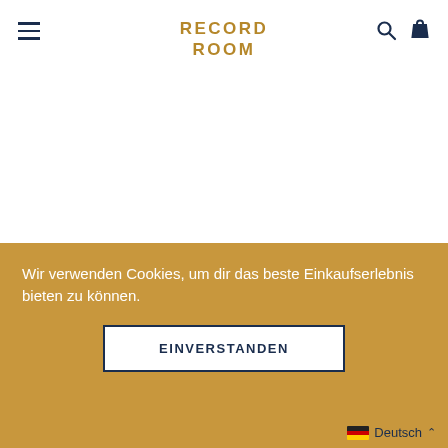RECORD ROOM
3rd Bass – Derelicts Of Dialect
CHF 40.00
12", 40.00, Cover: EX(+), Cover: EX(plus), Hip Hop, LP: M minus, LP: M–,
Wir verwenden Cookies, um dir das beste Einkaufserlebnis bieten zu können.
EINVERSTANDEN